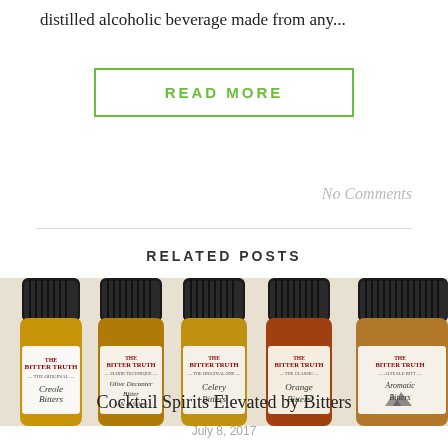distilled alcoholic beverage made from any...
READ MORE
No Comments
RELATED POSTS
[Figure (photo): Five small dark amber bottles of The Bitter Truth bitters (Creole Bitters, Old Dinkleacer Bitters, Celery Bitters, Orange Bitters, Aromatic Bitters) arranged side by side with black caps visible at top.]
Cocktail Spirits Elevated by Bitters
July 8, 2017